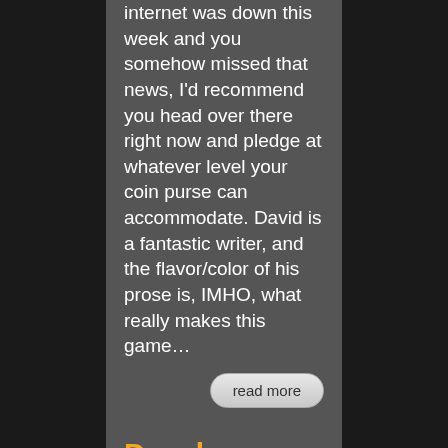internet was down this week and you somehow missed that news, I'd recommend you head over there right now and pledge at whatever level your coin purse can accommodate. David is a fantastic writer, and the flavor/color of his prose is, IMHO, what really makes this game…
read more
Developer Diary – Nilspace